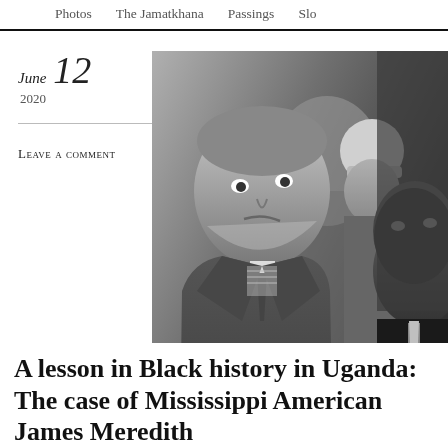Photos   The Jamatkhana   Passings   Slo
June 12
2020
Leave a comment
[Figure (photo): Black and white photograph showing multiple men in suits, closeup portrait style, historical civil rights era image]
A lesson in Black history in Uganda: The case of Mississippi American James Meredith